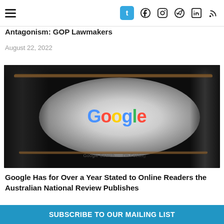Navigation bar with hamburger menu and social icons: Tumblr, Facebook, Instagram, Telegram, LinkedIn, RSS
Antagonism: GOP Lawmakers
August 22, 2022
[Figure (photo): Photo of eyeglasses with the Google logo reflected/visible through the lens, set against a dark background. Google Search bar partially visible at bottom.]
Google Has for Over a Year Stated to Online Readers the Australian National Review Publishes
SUBSCRIBE TO OUR MAILING LIST